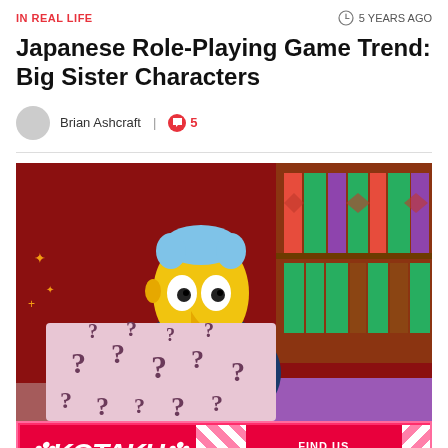IN REAL LIFE | 5 YEARS AGO
Japanese Role-Playing Game Trend: Big Sister Characters
Brian Ashcraft | 5
[Figure (screenshot): Simpsons cartoon screenshot showing Mr. Burns holding a large pink box covered with question marks]
[Figure (other): Kotaku advertisement banner with FIND US ON TWITCH text]
IN REAL L... | [page navigation]